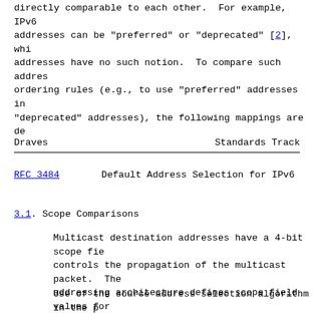directly comparable to each other.  For example, IPv6 addresses can be "preferred" or "deprecated" [2], whi... addresses have no such notion.  To compare such addres... ordering rules (e.g., to use "preferred" addresses in "deprecated" addresses), the following mappings are de...
Draves                          Standards Track
RFC 3484        Default Address Selection for IPv6
3.1. Scope Comparisons
Multicast destination addresses have a 4-bit scope fie... controls the propagation of the multicast packet.  The addressing architecture defines scope field values for local (0x1), link-local (0x2), subnet-local (0x3), adr site-local (0x5), organization-local (0x8), and globa... scopes [11].
Use of the source address selection algorithm in the p... multicast destination addresses requires the compariso...